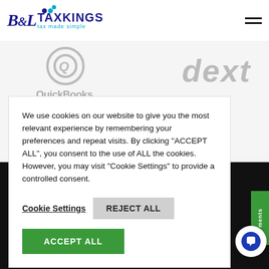[Figure (logo): B&L TaxKings logo with blue text and colored dots, tagline 'tax made simple']
[Figure (logo): QuickBooks logo (gray) and Dext logo (gray italic) in background]
We use cookies on our website to give you the most relevant experience by remembering your preferences and repeat visits. By clicking “ACCEPT ALL”, you consent to the use of ALL the cookies. However, you may visit "Cookie Settings" to provide a controlled consent.
Cookie Settings   REJECT ALL
ACCEPT ALL